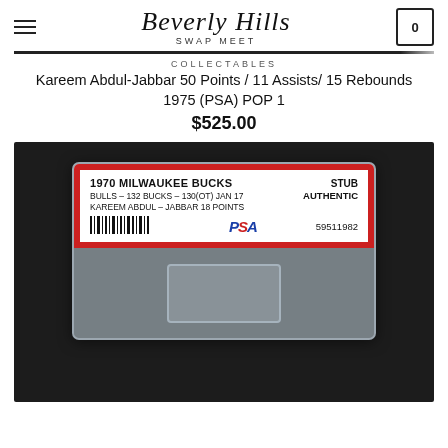Beverly Hills Swap Meet
COLLECTABLES
Kareem Abdul-Jabbar 50 Points / 11 Assists/ 15 Rebounds 1975 (PSA) POP 1
$525.00
[Figure (photo): PSA graded ticket stub in plastic case. Label reads: 1970 MILWAUKEE BUCKS / BULLS - 132 BUCKS - 130(OT) JAN 17 / KAREEM ABDUL - JABBAR 18 POINTS. Graded STUB AUTHENTIC. Serial number 59511982.]